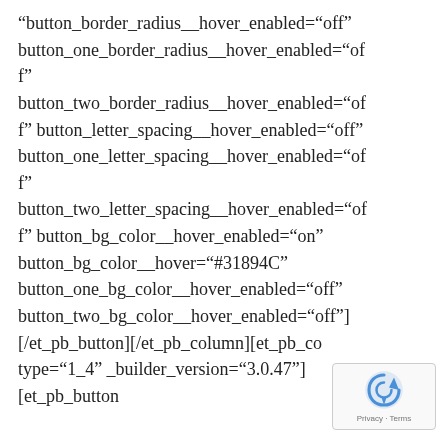“button_border_radius__hover_enabled="off" button_one_border_radius__hover_enabled="off" button_two_border_radius__hover_enabled="off" button_letter_spacing__hover_enabled="off" button_one_letter_spacing__hover_enabled="off" button_two_letter_spacing__hover_enabled="off" button_bg_color__hover_enabled="on" button_bg_color__hover="#31894C" button_one_bg_color__hover_enabled="off" button_two_bg_color__hover_enabled="off"] [/et_pb_button][/et_pb_column][et_pb_co type="1_4" _builder_version="3.0.47"] [et_pb_button